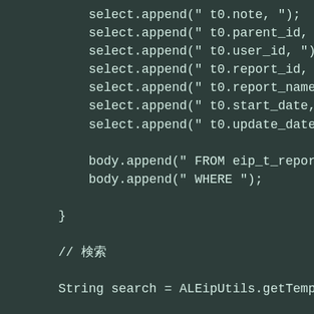select.append(" t0.note, ");
        select.append(" t0.parent_id, ");
        select.append(" t0.user_id, ");
        select.append(" t0.report_id, ");
        select.append(" t0.report_name, ");
        select.append(" t0.start_date, ");
        select.append(" t0.update_date, ");

        body.append(" FROM eip_t_report t0 ");
        body.append(" WHERE ");

    }

    // 検索

    String search = ALEipUtils.getTemp(rundata